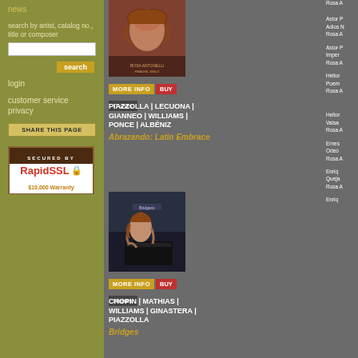news
search by artist, catalog no., title or composer
login
customer service
privacy
SHARE THIS PAGE
[Figure (logo): SECURED BY RapidSSL $10,000 Warranty badge]
[Figure (photo): Album cover for Abrazando: Latin Embrace - woman with curly red hair]
MORE INFO  BUY
iTunes
PIAZZOLLA | LECUONA | GIANNEO | WILLIAMS | PONCE | ALBÉNIZ
Abrazando: Latin Embrace
Rosa A.
Astor P
Adios N
Rosa A.
Astor P
Imper
Rosa A.
Heitor
Poem
Rosa A.
[Figure (photo): Album cover for Bridges - woman with curly red hair at piano]
MORE INFO  BUY
iTunes
CHOPIN | MATHIAS | WILLIAMS | GINASTERA | PIAZZOLLA
Bridges
Heitor
Valsa
Rosa A.
Ernes
Odeó
Rosa A.
Enriq
Queja
Rosa A.
Enriq